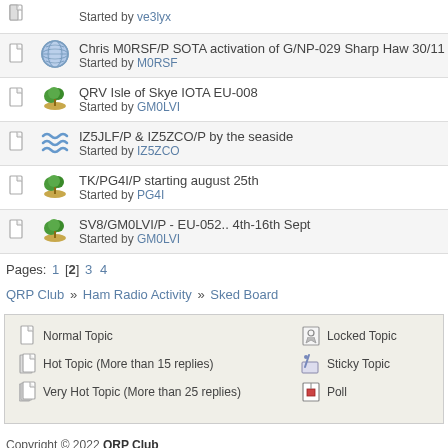| [doc icon] | [wave icon] | Started by ve3lyx |
| [doc icon] | [globe icon] | Chris M0RSF/P SOTA activation of G/NP-029 Sharp Haw 30/11
Started by M0RSF |
| [doc icon] | [island icon] | QRV Isle of Skye IOTA EU-008
Started by GM0LVI |
| [doc icon] | [wave icon] | IZ5JLF/P & IZ5ZCO/P by the seaside
Started by IZ5ZCO |
| [doc icon] | [island icon] | TK/PG4I/P starting august 25th
Started by PG4I |
| [doc icon] | [island icon] | SV8/GM0LVI/P - EU-052.. 4th-16th Sept
Started by GM0LVI |
Pages: 1 [2] 3 4
QRP Club » Ham Radio Activity » Sked Board
Normal Topic | Locked Topic | Hot Topic (More than 15 replies) | Sticky Topic | Very Hot Topic (More than 25 replies) | Poll
Copyright © 2022 QRP Club
PremiumMGC by MGCVisuals